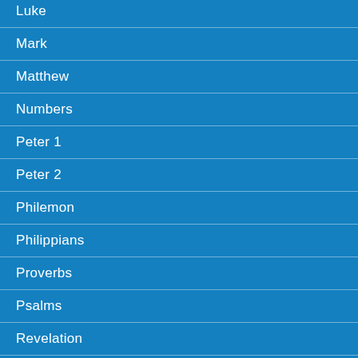Luke
Mark
Matthew
Numbers
Peter 1
Peter 2
Philemon
Philippians
Proverbs
Psalms
Revelation
Romans
Ruth